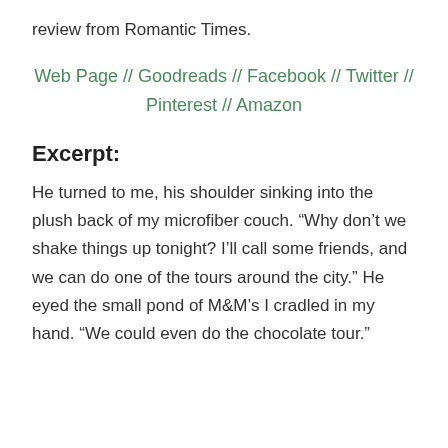review from Romantic Times.
Web Page // Goodreads // Facebook // Twitter // Pinterest // Amazon
Excerpt:
He turned to me, his shoulder sinking into the plush back of my microfiber couch. “Why don’t we shake things up tonight? I’ll call some friends, and we can do one of the tours around the city.” He eyed the small pond of M&M’s I cradled in my hand. “We could even do the chocolate tour.”